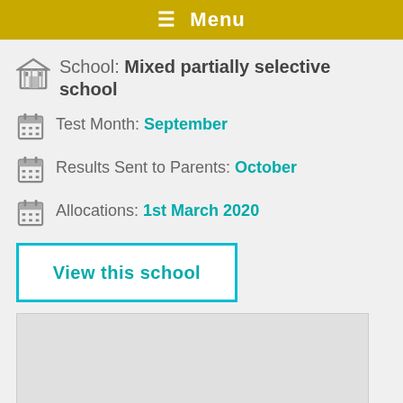≡ Menu
School: Mixed partially selective school
Test Month: September
Results Sent to Parents: October
Allocations: 1st March 2020
View this school
[Figure (map): Map area placeholder, light grey background]